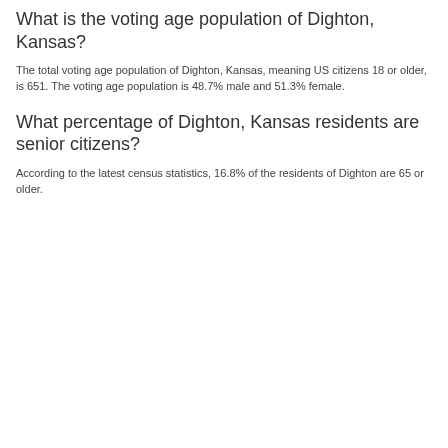What is the voting age population of Dighton, Kansas?
The total voting age population of Dighton, Kansas, meaning US citizens 18 or older, is 651. The voting age population is 48.7% male and 51.3% female.
What percentage of Dighton, Kansas residents are senior citizens?
According to the latest census statistics, 16.8% of the residents of Dighton are 65 or older.